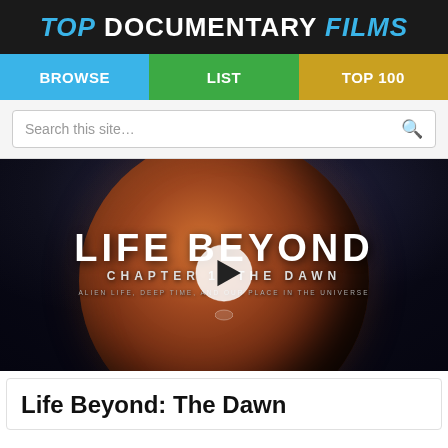TOP DOCUMENTARY FILMS
[Figure (screenshot): Navigation bar with BROWSE (blue), LIST (green), TOP 100 (gold) tabs]
[Figure (screenshot): Search bar with placeholder text 'Search this site...' and magnifying glass icon]
[Figure (screenshot): Video thumbnail for 'Life Beyond: The Dawn' documentary showing a Mars-like planet with play button overlay. Text reads LIFE BEYOND, CHAPTER 1: THE DAWN, ALIEN LIFE, DEEP TIME, AND OUR PLACE IN THE UNIVERSE]
Life Beyond: The Dawn